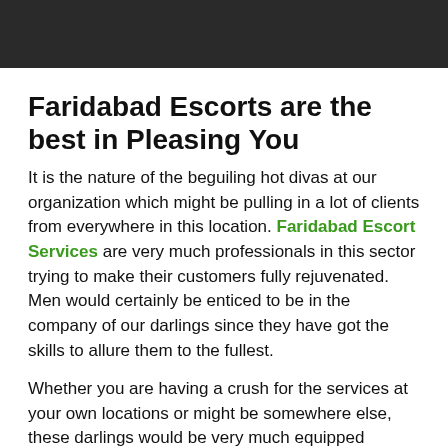[Figure (photo): Blurred/redacted photo banner at top of page showing dark blurred figures]
Faridabad Escorts are the best in Pleasing You
It is the nature of the beguiling hot divas at our organization which might be pulling in a lot of clients from everywhere in this location. Faridabad Escort Services are very much professionals in this sector trying to make their customers fully rejuvenated. Men would certainly be enticed to be in the company of our darlings since they have got the skills to allure them to the fullest.
Whether you are having a crush for the services at your own locations or might be somewhere else, these darlings would be very much equipped enough to stay fine and flexible. If you are staying in